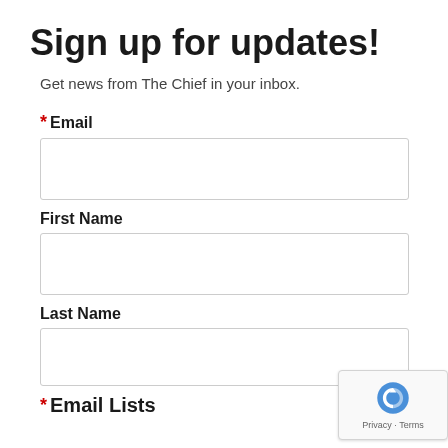Sign up for updates!
Get news from The Chief in your inbox.
* Email
First Name
Last Name
* Email Lists